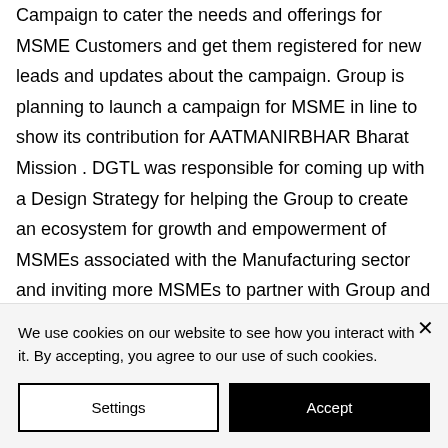Campaign to cater the needs and offerings for MSME Customers and get them registered for new leads and updates about the campaign. Group is planning to launch a campaign for MSME in line to show its contribution for AATMANIRBHAR Bharat Mission . DGTL was responsible for coming up with a Design Strategy for helping the Group to create an ecosystem for growth and empowerment of MSMEs associated with the Manufacturing sector and inviting more MSMEs to partner with Group and Position in the eyes of the Govt. As [clipped]
We use cookies on our website to see how you interact with it. By accepting, you agree to our use of such cookies.